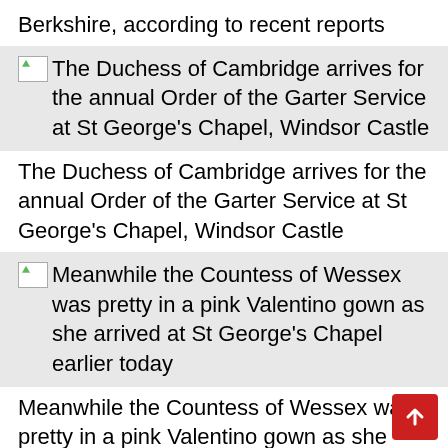Berkshire, according to recent reports
The Duchess of Cambridge arrives for the annual Order of the Garter Service at St George's Chapel, Windsor Castle
The Duchess of Cambridge arrives for the annual Order of the Garter Service at St George's Chapel, Windsor Castle
Meanwhile the Countess of Wessex was pretty in a pink Valentino gown as she arrived at St George's Chapel earlier today
Meanwhile the Countess of Wessex was pretty in a pink Valentino gown as she arrived at St George's Chapel earlier today
The Duchess of Cornwall arrived alongside the Prince of Wales at the event this afternoon